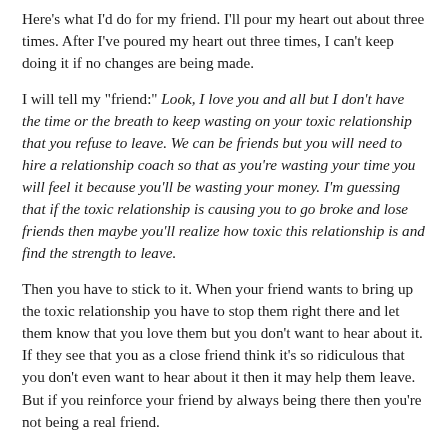Here's what I'd do for my friend. I'll pour my heart out about three times. After I've poured my heart out three times, I can't keep doing it if no changes are being made.
I will tell my "friend:" Look, I love you and all but I don't have the time or the breath to keep wasting on your toxic relationship that you refuse to leave. We can be friends but you will need to hire a relationship coach so that as you're wasting your time you will feel it because you'll be wasting your money. I'm guessing that if the toxic relationship is causing you to go broke and lose friends then maybe you'll realize how toxic this relationship is and find the strength to leave.
Then you have to stick to it. When your friend wants to bring up the toxic relationship you have to stop them right there and let them know that you love them but you don't want to hear about it. If they see that you as a close friend think it's so ridiculous that you don't even want to hear about it then it may help them leave. But if you reinforce your friend by always being there then you're not being a real friend.